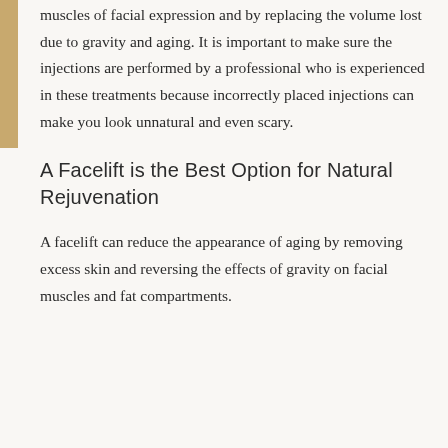muscles of facial expression and by replacing the volume lost due to gravity and aging. It is important to make sure the injections are performed by a professional who is experienced in these treatments because incorrectly placed injections can make you look unnatural and even scary.
A Facelift is the Best Option for Natural Rejuvenation
A facelift can reduce the appearance of aging by removing excess skin and reversing the effects of gravity on facial muscles and fat compartments.